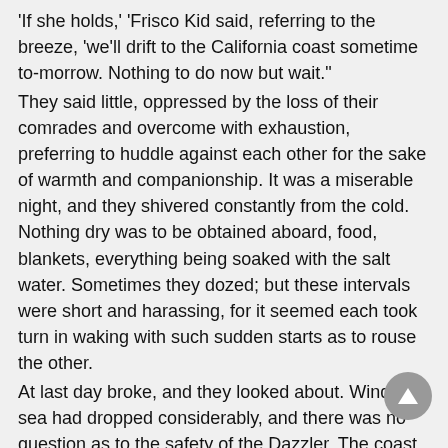'If she holds,' 'Frisco Kid said, referring to the breeze, 'we'll drift to the California coast sometime to-morrow. Nothing to do now but wait.' They said little, oppressed by the loss of their comrades and overcome with exhaustion, preferring to huddle against each other for the sake of warmth and companionship. It was a miserable night, and they shivered constantly from the cold. Nothing dry was to be obtained aboard, food, blankets, everything being soaked with the salt water. Sometimes they dozed; but these intervals were short and harassing, for it seemed each took turn in waking with such sudden starts as to rouse the other. At last day broke, and they looked about. Wind and sea had dropped considerably, and there was no question as to the safety of the Dazzler. The coast was nearer than they had expected, its cliffs showing dark and forbidding in the gray of dawn. But with the rising of the sun they could see the yellow beaches, flanked by the white surf, and beyond—it seemed too good to be true—the clustering houses and smoking chimneys of a town. "Santa Cruz!" 'Frisco Kid cried, "and no chance of being wrecked in the surf!" "Then the safe is safe?" Joe queried.